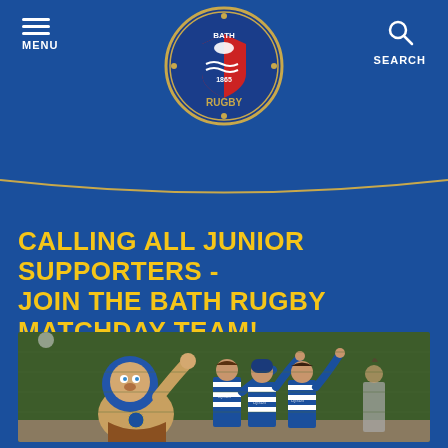MENU | Bath Rugby | SEARCH
CALLING ALL JUNIOR SUPPORTERS - JOIN THE BATH RUGBY MATCHDAY TEAM!
[Figure (photo): Bath Rugby lion mascot posing with three young boys wearing blue and white striped Bath Rugby Dyson-sponsored jerseys, outdoors near a green wall]